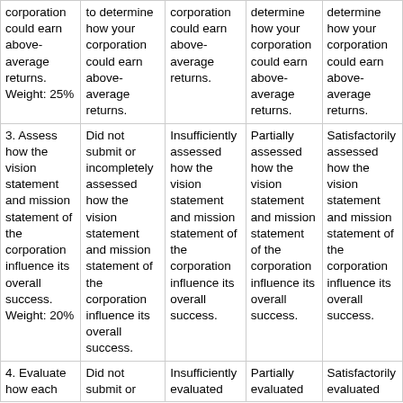| corporation could earn above-average returns. Weight: 25% | to determine how your corporation could earn above-average returns. | corporation could earn above-average returns. | determine how your corporation could earn above-average returns. | determine how your corporation could earn above-average returns. |
| 3. Assess how the vision statement and mission statement of the corporation influence its overall success. Weight: 20% | Did not submit or incompletely assessed how the vision statement and mission statement of the corporation influence its overall success. | Insufficiently assessed how the vision statement and mission statement of the corporation influence its overall success. | Partially assessed how the vision statement and mission statement of the corporation influence its overall success. | Satisfactorily assessed how the vision statement and mission statement of the corporation influence its overall success. |
| 4. Evaluate how each | Did not submit or | Insufficiently evaluated | Partially evaluated | Satisfactorily evaluated |